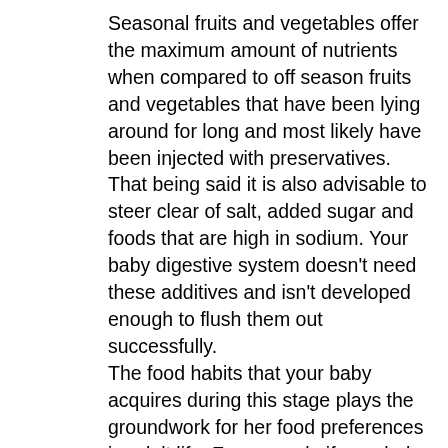Seasonal fruits and vegetables offer the maximum amount of nutrients when compared to off season fruits and vegetables that have been lying around for long and most likely have been injected with preservatives. That being said it is also advisable to steer clear of salt, added sugar and foods that are high in sodium. Your baby digestive system doesn't need these additives and isn't developed enough to flush them out successfully.
The food habits that your baby acquires during this stage plays the groundwork for her food preferences in adult life. For example if your baby has been offered sweet foods more than required, your baby will be fond of sweets in later life.